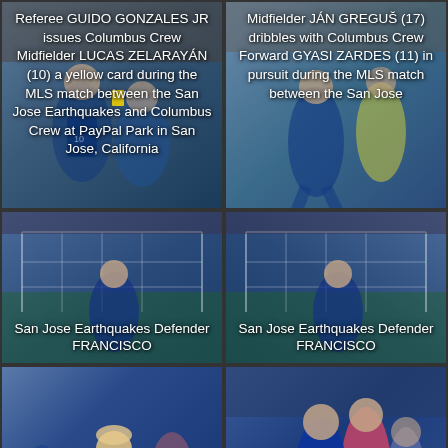[Figure (photo): Referee GUIDO GONZALES JR issues Columbus Crew Midfielder LUCAS ZELARAYÁN (10) a yellow card during the MLS match between the San Jose Earthquakes and Columbus Crew at PayPal Park in San Jose, California]
Referee GUIDO GONZALES JR issues Columbus Crew Midfielder LUCAS ZELARAYÁN (10) a yellow card during the MLS match between the San Jose Earthquakes and Columbus Crew at PayPal Park in San Jose, California
[Figure (photo): Midfielder JÁN GREGUŠ (17) dribbles with Columbus Crew Forward GYASI ZARDES (11) in pursuit during the MLS match between the San Jose]
Midfielder JÁN GREGUŠ (17) dribbles with Columbus Crew Forward GYASI ZARDES (11) in pursuit during the MLS match between the San Jose
[Figure (photo): San Jose Earthquakes Defender FRANCISCO]
San Jose Earthquakes Defender FRANCISCO
[Figure (photo): San Jose Earthquakes Defender FRANCISCO]
San Jose Earthquakes Defender FRANCISCO
[Figure (photo): San Jose Earthquakes Defender FRANCISCO CALVO (80) celebrates his second goal during the MLS]
San Jose Earthquakes Defender FRANCISCO CALVO (80) celebrates his second goal during the MLS
[Figure (photo): San Jose Earthquakes Defender FRANCISCO CALVO (80), San Jose Earthquakes Midfielder]
San Jose Earthquakes Defender FRANCISCO CALVO (80), San Jose Earthquakes Midfielder